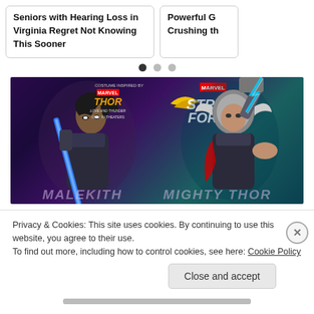Seniors with Hearing Loss in Virginia Regret Not Knowing This Sooner
Powerful G Crushing th
[Figure (illustration): Marvel Strike Force promotional image featuring two female characters: Gorr's God Butcher (left) wielding a blue sword, and Mighty Thor (right) holding a glowing hammer, with purple and teal background. Thor: Love and Thunder movie tie-in branding visible.]
Privacy & Cookies: This site uses cookies. By continuing to use this website, you agree to their use.
To find out more, including how to control cookies, see here: Cookie Policy
Close and accept